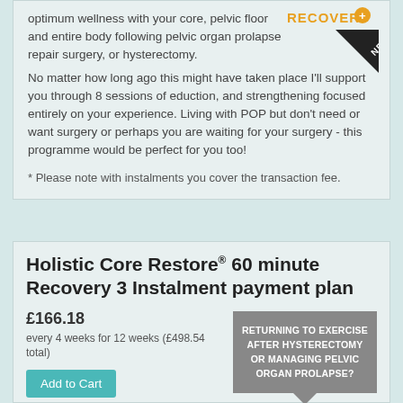optimum wellness with your core, pelvic floor and entire body following pelvic organ prolapse repair surgery, or hysterectomy. No matter how long ago this might have taken place I'll support you through 8 sessions of eduction, and strengthening focused entirely on your experience. Living with POP but don't need or want surgery or perhaps you are waiting for your surgery - this programme would be perfect for you too!
[Figure (logo): Recovery+ logo with orange text and NEW banner in black triangle corner]
* Please note with instalments you cover the transaction fee.
Holistic Core Restore® 60 minute Recovery 3 Instalment payment plan
£166.18
every 4 weeks for 12 weeks (£498.54 total)
Add to Cart
RETURNING TO EXERCISE AFTER HYSTERECTOMY OR MANAGING PELVIC ORGAN PROLAPSE?